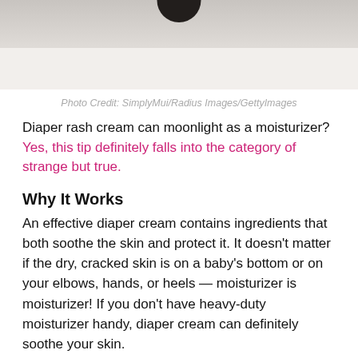[Figure (photo): Partial photo of a baby or person on white bedding/sheets, cropped at top of page]
Photo Credit: SimplyMui/Radius Images/GettyImages
Diaper rash cream can moonlight as a moisturizer? Yes, this tip definitely falls into the category of strange but true.
Why It Works
An effective diaper cream contains ingredients that both soothe the skin and protect it. It doesn't matter if the dry, cracked skin is on a baby's bottom or on your elbows, hands, or heels — moisturizer is moisturizer! If you don't have heavy-duty moisturizer handy, diaper cream can definitely soothe your skin.